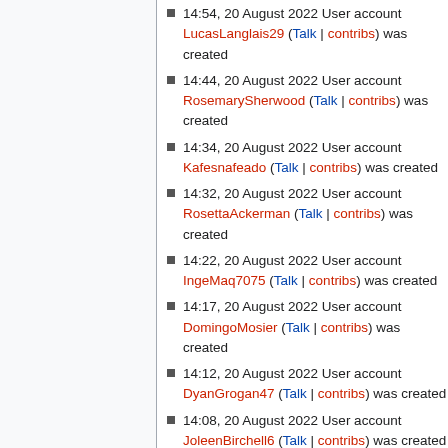14:54, 20 August 2022 User account LucasLanglais29 (Talk | contribs) was created
14:44, 20 August 2022 User account RosemarySherwood (Talk | contribs) was created
14:34, 20 August 2022 User account Kafesnafeado (Talk | contribs) was created
14:32, 20 August 2022 User account RosettaAckerman (Talk | contribs) was created
14:22, 20 August 2022 User account IngeMaq7075 (Talk | contribs) was created
14:17, 20 August 2022 User account DomingoMosier (Talk | contribs) was created
14:12, 20 August 2022 User account DyanGrogan47 (Talk | contribs) was created
14:08, 20 August 2022 User account JoleenBirchell6 (Talk | contribs) was created
14:01, 20 August 2022 User account